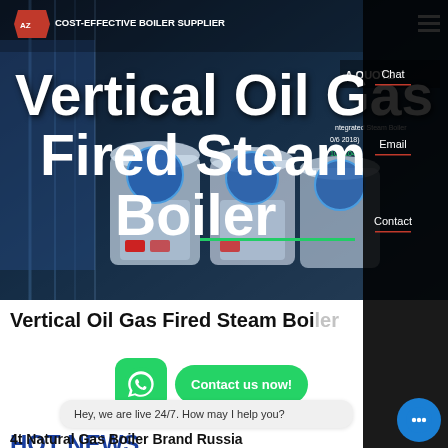[Figure (screenshot): Hero banner of a boiler supplier website showing industrial gas fired steam boilers with dark overlay and large white title text]
COST-EFFECTIVE BOILER SUPPLIER
Vertical Oil Gas Fired Steam Boiler
HOT NEWS
Vertical Oil Gas Fired Boiler
Hey, we are live 24/7. How may I help you?
4t Natural Gas Boiler Brand Russia